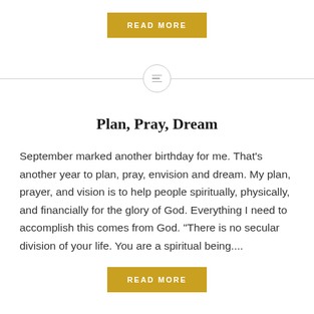[Figure (other): Gold/yellow 'READ MORE' button at the top]
[Figure (other): Horizontal divider line with a circle icon containing three horizontal lines (menu icon) in the center]
Plan, Pray, Dream
September marked another birthday for me. That’s another year to plan, pray, envision and dream. My plan, prayer, and vision is to help people spiritually, physically, and financially for the glory of God. Everything I need to accomplish this comes from God. “There is no secular division of your life. You are a spiritual being....
[Figure (other): Gold/yellow 'READ MORE' button at the bottom]